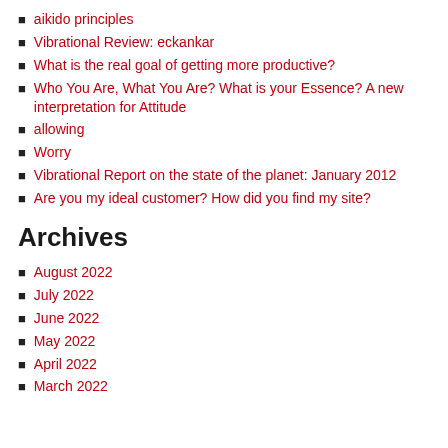aikido principles
Vibrational Review: eckankar
What is the real goal of getting more productive?
Who You Are, What You Are? What is your Essence? A new interpretation for Attitude
allowing
Worry
Vibrational Report on the state of the planet: January 2012
Are you my ideal customer? How did you find my site?
Archives
August 2022
July 2022
June 2022
May 2022
April 2022
March 2022